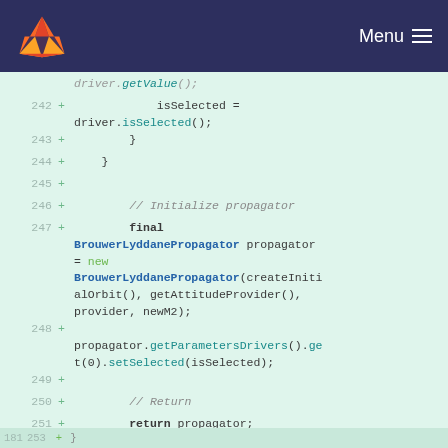GitLab — Menu
[Figure (screenshot): Code diff viewer showing Java source lines 242–252 with added lines (green +) in a GitLab repository, depicting BrouwwerLyddanePropagator initialization code.]